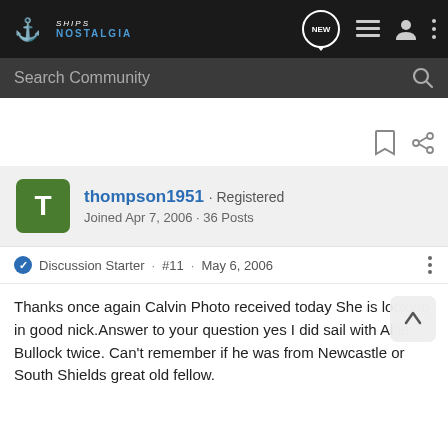Ships Nostalgia
Search Community
thompson1951 · Registered
Joined Apr 7, 2006 · 36 Posts
Discussion Starter · #11 · May 6, 2006
Thanks once again Calvin Photo received today She is looking in good nick.Answer to your question yes I did sail with Alfie Bullock twice. Can't remember if he was from Newcastle or South Shields great old fellow.